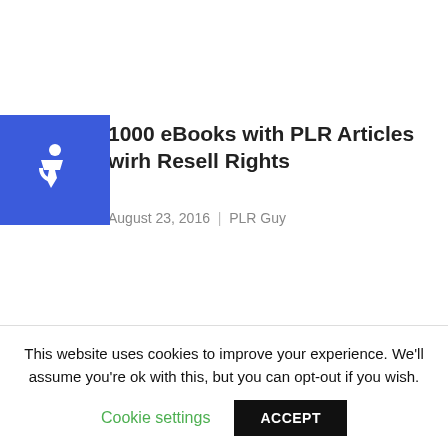[Figure (illustration): Blue square accessibility icon with wheelchair symbol]
1000 eBooks with PLR Articles wirh Resell Rights
August 23, 2016 | PLR Guy
1000 + PLR Articles on Affiliate Marketing with PLR rights
September 15, 2016 | PLR Guy
This website uses cookies to improve your experience. We'll assume you're ok with this, but you can opt-out if you wish.
Cookie settings   ACCEPT